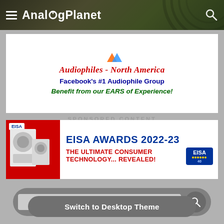AnalogPlanet
[Figure (infographic): Advertisement for Audiophiles - North America Facebook group. Red italic text: 'Audiophiles - North America'. Blue bold text: 'Facebook's #1 Audiophile Group'. Green italic text: 'Benefit from our EARS of Experience!']
[Figure (infographic): EISA Awards 2022-23 advertisement. Blue text: 'EISA AWARDS 2022-23'. Red text: 'THE ULTIMATE CONSUMER TECHNOLOGY... REVEALED!' with EISA badge logo. Left side shows speaker products on red background.]
[Figure (screenshot): Search bar with rounded gray container, text input field, and search icon button]
Switch to Desktop Theme